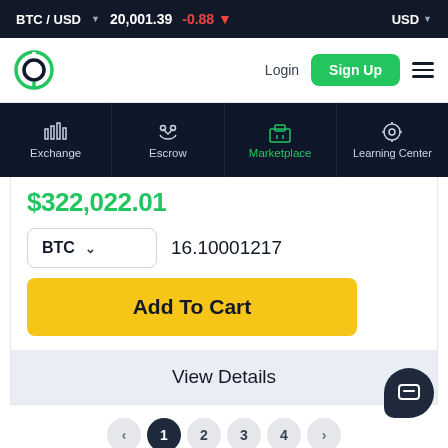BTC / USD  20,001.39  -0.88  USD
[Figure (logo): Circular logo with green and dark navy ring]
Login
Sign Up
Exchange  Escrow  Marketplace  Learning Center
$322,022.01
BTC  16.10001217
Add To Cart
View Details
1  2  3  4